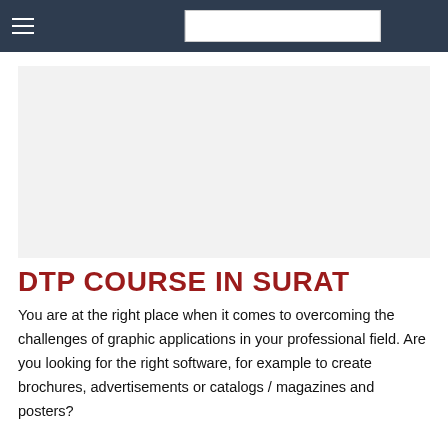☰  [search box]
[Figure (other): Light gray rectangular advertisement or image placeholder banner]
DTP COURSE IN SURAT
You are at the right place when it comes to overcoming the challenges of graphic applications in your professional field. Are you looking for the right software, for example to create brochures, advertisements or catalogs / magazines and posters?